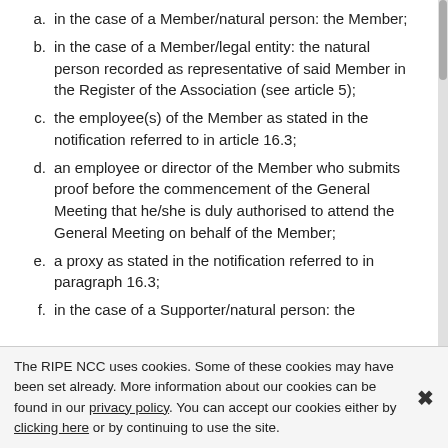a. in the case of a Member/natural person: the Member;
b. in the case of a Member/legal entity: the natural person recorded as representative of said Member in the Register of the Association (see article 5);
c. the employee(s) of the Member as stated in the notification referred to in article 16.3;
d. an employee or director of the Member who submits proof before the commencement of the General Meeting that he/she is duly authorised to attend the General Meeting on behalf of the Member;
e. a proxy as stated in the notification referred to in paragraph 16.3;
f. in the case of a Supporter/natural person: the
The RIPE NCC uses cookies. Some of these cookies may have been set already. More information about our cookies can be found in our privacy policy. You can accept our cookies either by clicking here or by continuing to use the site.